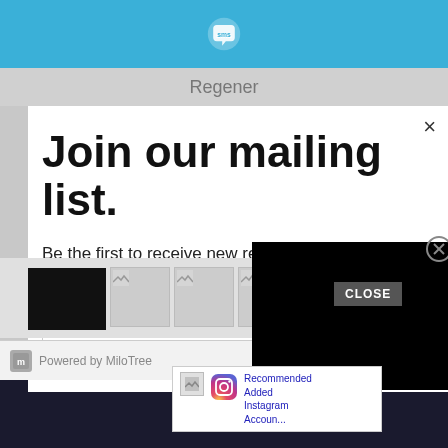[Figure (screenshot): Blue top navigation bar with SMS logo icon (white speech bubble with 'sms' text)]
Regener
Join our mailing list.
Be the first to receive new recipes, sneak peaks, product reveals & more.
Email address
[Figure (screenshot): Instagram recommended accounts popup overlay with Instagram logo]
[Figure (screenshot): Black video/ad overlay rectangle with circle-X close button]
[Figure (screenshot): CLOSE button over thumbnail strip]
Powered by MiloTree
X CLOSE
[Figure (logo): Amazon Prime logo banner at bottom]